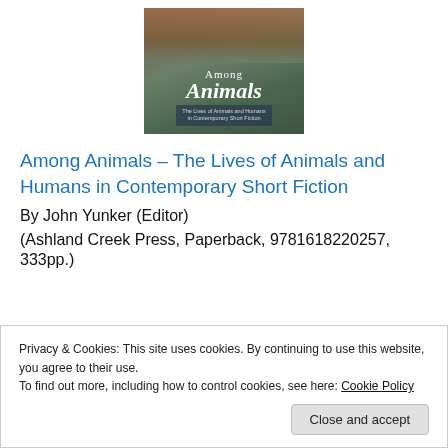[Figure (illustration): Book cover for 'Among Animals – The Lives of Animals and Humans in Contemporary Short Fiction'. Shows a brown animal face at the top on a nature background. Text reads 'Among', 'Animals' in italic, and subtitle 'The Lives of Animals and Humans in Contemporary Short Fiction'.]
Among Animals – The Lives of Animals and Humans in Contemporary Short Fiction
By John Yunker (Editor)
(Ashland Creek Press, Paperback, 9781618220257, 333pp.)
Privacy & Cookies: This site uses cookies. By continuing to use this website, you agree to their use.
To find out more, including how to control cookies, see here: Cookie Policy